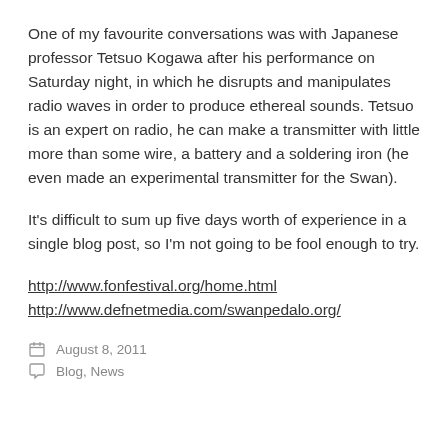One of my favourite conversations was with Japanese professor Tetsuo Kogawa after his performance on Saturday night, in which he disrupts and manipulates radio waves in order to produce ethereal sounds. Tetsuo is an expert on radio, he can make a transmitter with little more than some wire, a battery and a soldering iron (he even made an experimental transmitter for the Swan).
It’s difficult to sum up five days worth of experience in a single blog post, so I’m not going to be fool enough to try.
http://www.fonfestival.org/home.html
http://www.defnetmedia.com/swanpedalo.org/
August 8, 2011
Blog, News